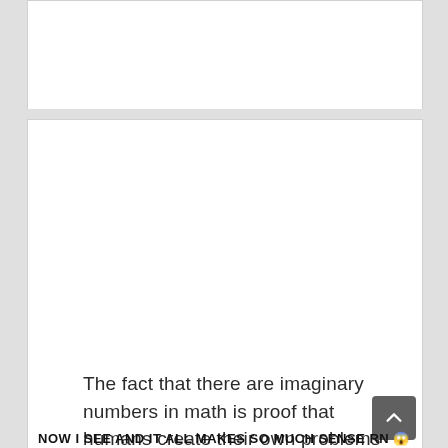[Figure (screenshot): Top white card area, partially visible, blank content]
The fact that there are imaginary numbers in math is proof that humans create their own problems and then cry about it
NOW I SEE AND IT ALL MAKES SO MUCH SENSE RN 😱